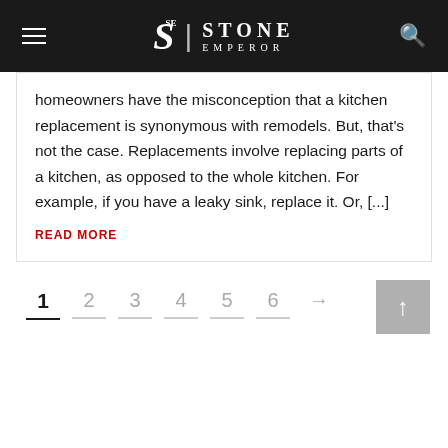Stone Emperor
homeowners have the misconception that a kitchen replacement is synonymous with remodels. But, that's not the case. Replacements involve replacing parts of a kitchen, as opposed to the whole kitchen. For example, if you have a leaky sink, replace it. Or, [...]
READ MORE
1 2 3 4 5 6 →